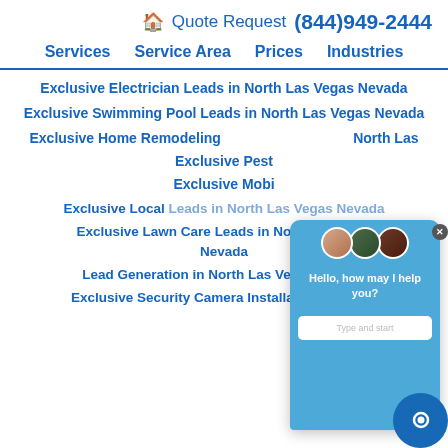🏠 Quote Request (844)949-2444
Services  Service Area  Prices  Industries
Exclusive Electrician Leads in North Las Vegas Nevada
Exclusive Swimming Pool Leads in North Las Vegas Nevada
Exclusive Home Remodeling Leads in North Las Vegas Nevada
Exclusive Pest [Control Leads in North Las Vegas Nevada]
Exclusive Mobile [Leads]
Exclusive Local Leads in North Las Vegas Nevada
Exclusive Lawn Care Leads in North Las Vegas Nevada
Lead Generation in North Las Vegas Nevada
Exclusive Security Camera Installation Leads in
[Figure (screenshot): Chat widget popup with 3 agent avatars, message 'Hello, how may I help you?', 'Type and start' input, close button X, and blue chat icon button in lower right corner]